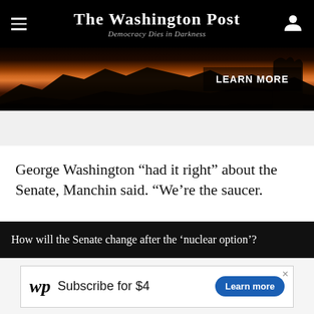The Washington Post — Democracy Dies in Darkness
[Figure (photo): Desert landscape silhouette at sunset with orange and red sky, 'LEARN MORE' button overlay]
George Washington “had it right” about the Senate, Manchin said. “We’re the saucer. Should be, anyway. Should be cooling off that tea. . . . The hot tea’s going to scald you now. It’s going to burn you.”
How will the Senate change after the ‘nuclear option’?
[Figure (screenshot): Washington Post subscription ad: wp logo, Subscribe for $4, Learn more button]